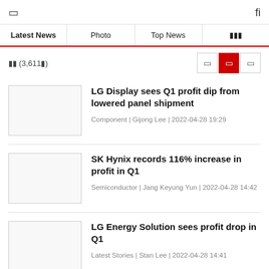☰  fi
Latest News | Photo | Top News | ⊞
전체 (3,611건)
LG Display sees Q1 profit dip from lowered panel shipment
Component | Gijong Lee | 2022-04-28 19:29
SK Hynix records 116% increase in profit in Q1
Semiconductor | Jang Keyung Yun | 2022-04-28 14:42
LG Energy Solution sees profit drop in Q1
Latest Stories | Stan Lee | 2022-04-28 14:41